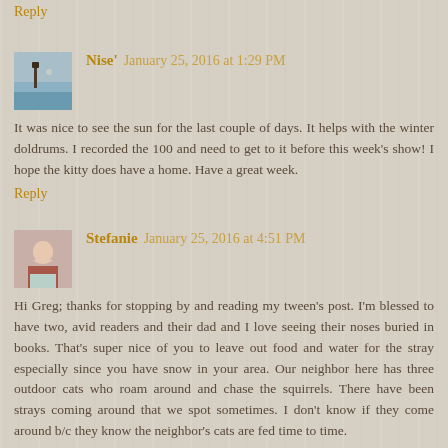Reply
Nise'  January 25, 2016 at 1:29 PM
It was nice to see the sun for the last couple of days. It helps with the winter doldrums. I recorded the 100 and need to get to it before this week's show! I hope the kitty does have a home. Have a great week.
Reply
Stefanie  January 25, 2016 at 4:51 PM
Hi Greg; thanks for stopping by and reading my tween's post. I'm blessed to have two, avid readers and their dad and I love seeing their noses buried in books. That's super nice of you to leave out food and water for the stray especially since you have snow in your area. Our neighbor here has three outdoor cats who roam around and chase the squirrels. There have been strays coming around that we spot sometimes. I don't know if they come around b/c they know the neighbor's cats are fed time to time.